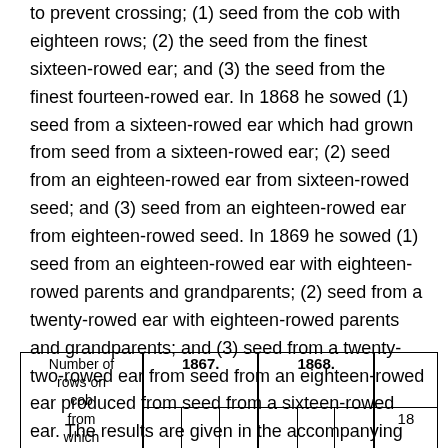to prevent crossing; (1) seed from the cob with eighteen rows; (2) the seed from the finest sixteen-rowed ear; and (3) the seed from the finest fourteen-rowed ear. In 1868 he sowed (1) seed from a sixteen-rowed ear which had grown from seed from a sixteen-rowed ear; (2) seed from an eighteen-rowed ear from sixteen-rowed seed; and (3) seed from an eighteen-rowed ear from eighteen-rowed seed. In 1869 he sowed (1) seed from an eighteen-rowed ear with eighteen-rowed parents and grandparents; (2) seed from a twenty-rowed ear with eighteen-rowed parents and grandparents; and (3) seed from a twenty-two-rowed ear from seed from an eighteen-rowed ear produced from seed from a sixteen-rowed ear. The results are given in the accompanying table:
| Number of rows on cob from which | 1867. | 1868. |  |
| --- | --- | --- | --- |
|  |  |  | 18 |